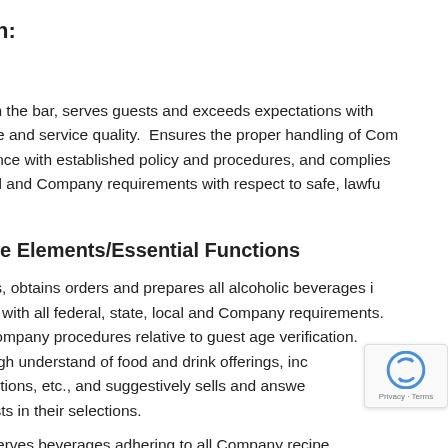ription:
nary
guests in the bar, serves guests and exceeds expectations with beverage and service quality.  Ensures the proper handling of Company accordance with established policy and procedures, and complies ate, local and Company requirements with respect to safe, lawful service.
rmance Elements/Essential Functions
ts guests, obtains orders and prepares all alcoholic beverages in opliance with all federal, state, local and Company requirements. ws all Company procedures relative to guest age verification. a thorough understand of food and drink offerings, including s, promotions, etc., and suggestively sells and answers to assist guests in their selections.
re and serves beverages adhering to all Company recipe...